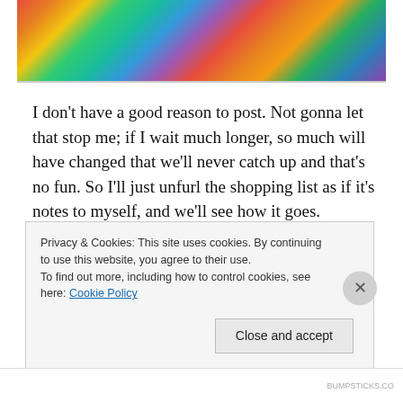[Figure (illustration): Colorful abstract/impressionist artwork with vibrant mixed colors — reds, greens, blues, purples, yellows — used as a header image for a blog post.]
I don't have a good reason to post. Not gonna let that stop me; if I wait much longer, so much will have changed that we'll never catch up and that's no fun. So I'll just unfurl the shopping list as if it's notes to myself, and we'll see how it goes.
Last year swept by like a Fellini movie – a silent one, with no editing. Chaotic, fluid, layered, ambiguous, disconcerting, nonsensical at times, yet sprinkled with
Privacy & Cookies: This site uses cookies. By continuing to use this website, you agree to their use.
To find out more, including how to control cookies, see here: Cookie Policy
Close and accept